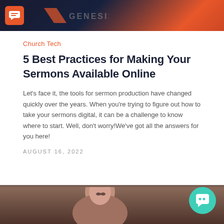[Figure (screenshot): Dark hero banner with orange/dark gradient, chat logo icon on left, partially visible text on right]
Church Tech
5 Best Practices for Making Your Sermons Available Online
Let’s face it, the tools for sermon production have changed quickly over the years. When you’re trying to figure out how to take your sermons digital, it can be a challenge to know where to start. Well, don’t worry!We’ve got all the answers for you here!
AUGUST 16, 2022
[Figure (photo): Partial photo of a person from the shoulders up, appearing to be in a video or media context]